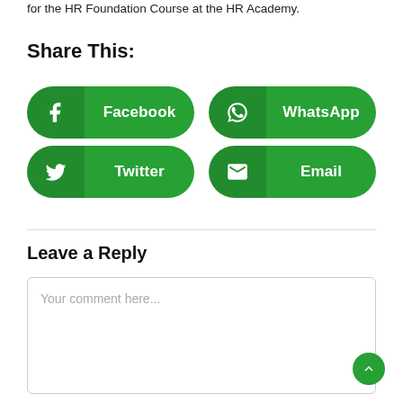for the HR Foundation Course at the HR Academy.
Share This:
[Figure (infographic): Four social share buttons in green pill shape: Facebook, WhatsApp, Twitter, Email]
Leave a Reply
Your comment here...